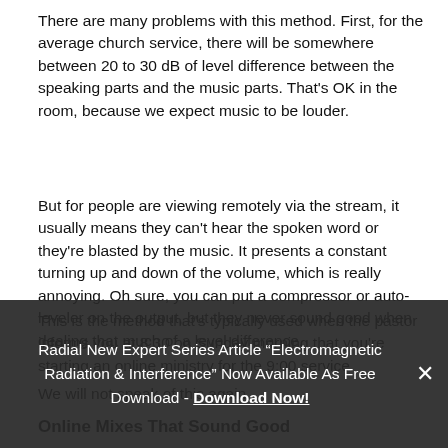There are many problems with this method. First, for the average church service, there will be somewhere between 20 to 30 dB of level difference between the speaking parts and the music parts. That's OK in the room, because we expect music to be louder.
But for people are viewing remotely via the stream, it usually means they can't hear the spoken word or they're blasted by the music. It presents a constant turning up and down of the volume, which is really annoying. Oh sure, you can put a compressor or auto-leveler on the output, but they never sound good when dealing that much of a level difference.
This is the method that's typically used when the pastor informs you at 8:30 on Sunday morning that you're starting an online ministry for the 9:00 service.
We will not speak of this again.
Online Mixes That Sound Good
To paraphrase the Apostle Paul, And now I will show
Radial New Expert Series Article “Electromagnetic Radiation & Interference” Now Available As Free Download - Download Now!